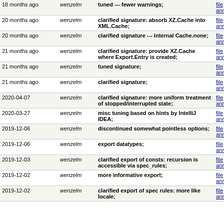| Date | Author | Message | Links |
| --- | --- | --- | --- |
| 18 months ago | wenzelm | tuned --- fewer warnings; | file | diff | annotate |
| 20 months ago | wenzelm | clarified signature: absorb XZ.Cache into XML.Cache; | file | diff | annotate |
| 20 months ago | wenzelm | clarified signature --- internal Cache.none; | file | diff | annotate |
| 21 months ago | wenzelm | clarified signature: provide XZ.Cache where Export.Entry is created; | file | diff | annotate |
| 21 months ago | wenzelm | tuned signature; | file | diff | annotate |
| 21 months ago | wenzelm | clarified signature; | file | diff | annotate |
| 2020-04-07 | wenzelm | clarified signature: more uniform treatment of stopped/interrupted state; | file | diff | annotate |
| 2020-03-27 | wenzelm | misc tuning based on hints by IntelliJ IDEA; | file | diff | annotate |
| 2019-12-06 | wenzelm | discontinued somewhat pointless options; | file | diff | annotate |
| 2019-12-06 | wenzelm | export datatypes; | file | diff | annotate |
| 2019-12-03 | wenzelm | clarified export of consts: recursion is accessible via spec_rules; | file | diff | annotate |
| 2019-12-02 | wenzelm | more informative export; | file | diff | annotate |
| 2019-12-02 | wenzelm | clarified export of spec rules: more like locale; | file | diff | annotate |